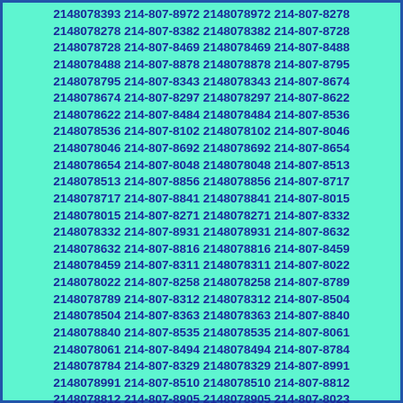2148078393 214-807-8972 2148078972 214-807-8278 2148078278 214-807-8382 2148078382 214-807-8728 2148078728 214-807-8469 2148078469 214-807-8488 2148078488 214-807-8878 2148078878 214-807-8795 2148078795 214-807-8343 2148078343 214-807-8674 2148078674 214-807-8297 2148078297 214-807-8622 2148078622 214-807-8484 2148078484 214-807-8536 2148078536 214-807-8102 2148078102 214-807-8046 2148078046 214-807-8692 2148078692 214-807-8654 2148078654 214-807-8048 2148078048 214-807-8513 2148078513 214-807-8856 2148078856 214-807-8717 2148078717 214-807-8841 2148078841 214-807-8015 2148078015 214-807-8271 2148078271 214-807-8332 2148078332 214-807-8931 2148078931 214-807-8632 2148078632 214-807-8816 2148078816 214-807-8459 2148078459 214-807-8311 2148078311 214-807-8022 2148078022 214-807-8258 2148078258 214-807-8789 2148078789 214-807-8312 2148078312 214-807-8504 2148078504 214-807-8363 2148078363 214-807-8840 2148078840 214-807-8535 2148078535 214-807-8061 2148078061 214-807-8494 2148078494 214-807-8784 2148078784 214-807-8329 2148078329 214-807-8991 2148078991 214-807-8510 2148078510 214-807-8812 2148078812 214-807-8905 2148078905 214-807-8023 2148078023 214-807-8031 2148078031 214-807-8433 2148078433 214-807-8487 2148078487 214-807-8294